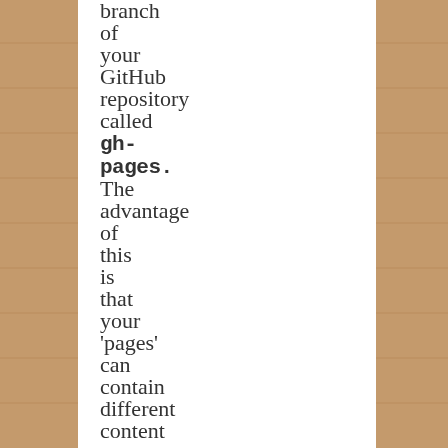branch of your GitHub repository called gh-pages. The advantage of this is that your 'pages' can contain different content to your main